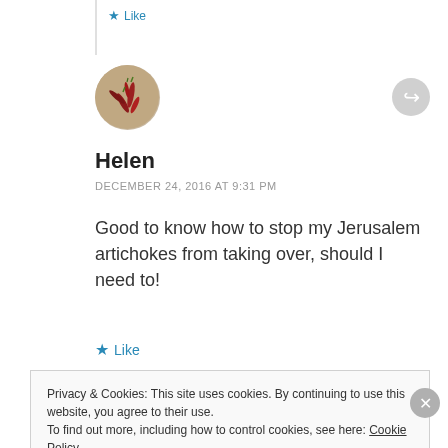Like
[Figure (photo): Circular avatar showing red chili peppers on a brownish background]
Helen
DECEMBER 24, 2016 AT 9:31 PM
Good to know how to stop my Jerusalem artichokes from taking over, should I need to!
Like
Privacy & Cookies: This site uses cookies. By continuing to use this website, you agree to their use.
To find out more, including how to control cookies, see here: Cookie Policy
Close and accept